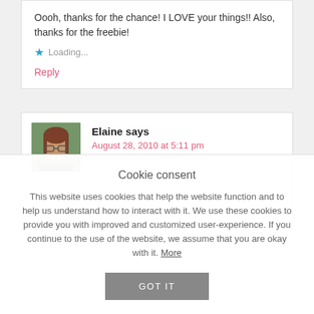Oooh, thanks for the chance! I LOVE your things!! Also, thanks for the freebie!
Loading...
Reply
Elaine says
August 28, 2010 at 5:11 pm
Cookie consent
This website uses cookies that help the website function and to help us understand how to interact with it. We use these cookies to provide you with improved and customized user-experience. If you continue to the use of the website, we assume that you are okay with it. More
GOT IT